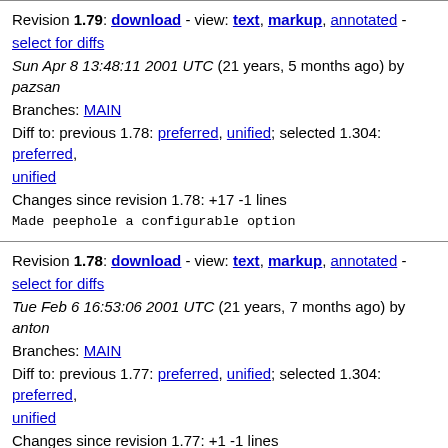Revision 1.79: download - view: text, markup, annotated - select for diffs
Sun Apr 8 13:48:11 2001 UTC (21 years, 5 months ago) by pazsan
Branches: MAIN
Diff to: previous 1.78: preferred, unified; selected 1.304: preferred, unified
Changes since revision 1.78: +17 -1 lines

Made peephole a configurable option
Revision 1.78: download - view: text, markup, annotated - select for diffs
Tue Feb 6 16:53:06 2001 UTC (21 years, 7 months ago) by anton
Branches: MAIN
Diff to: previous 1.77: preferred, unified; selected 1.304: preferred, unified
Changes since revision 1.77: +1 -1 lines

type conversion macros instead of casts for fetch/store-s
Revision 1.77: download - view: text, markup, annotated - select for diffs
Sun Dec 10 18:02:17 2000 UTC (21 years, 8 months ago) by anton
Branches: MAIN